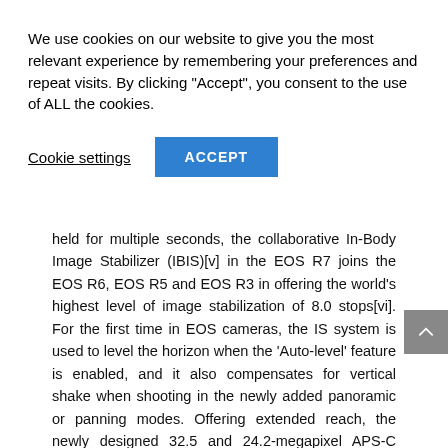We use cookies on our website to give you the most relevant experience by remembering your preferences and repeat visits. By clicking “Accept”, you consent to the use of ALL the cookies.
Cookie settings
ACCEPT
held for multiple seconds, the collaborative In-Body Image Stabilizer (IBIS)[v] in the EOS R7 joins the EOS R6, EOS R5 and EOS R3 in offering the world’s highest level of image stabilization of 8.0 stops[vi]. For the first time in EOS cameras, the IS system is used to level the horizon when the ‘Auto-level’ feature is enabled, and it also compensates for vertical shake when shooting in the newly added panoramic or panning modes. Offering extended reach, the newly designed 32.5 and 24.2-megapixel APS-C sensors within both EOS R7 and EOS R10 deliver sharp image quality even at distance – ideal for sports and wildlife photographers that need to